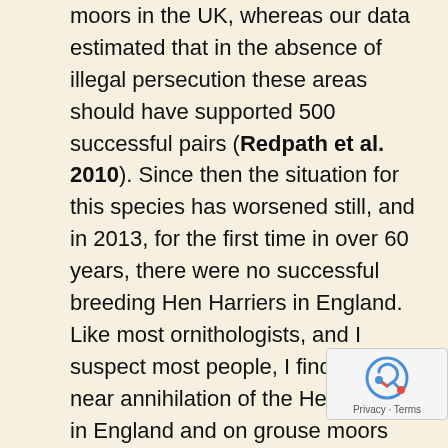moors in the UK, whereas our data estimated that in the absence of illegal persecution these areas should have supported 500 successful pairs (Redpath et al. 2010). Since then the situation for this species has worsened still, and in 2013, for the first time in over 60 years, there were no successful breeding Hen Harriers in England. Like most ornithologists, and I suspect most people, I find the near annihilation of the Hen Harrier in England and on grouse moors elsewhere in the UK deeply depressing.
I have been lucky enough to have spent several years studying a non-persecuted population of this species in the S...